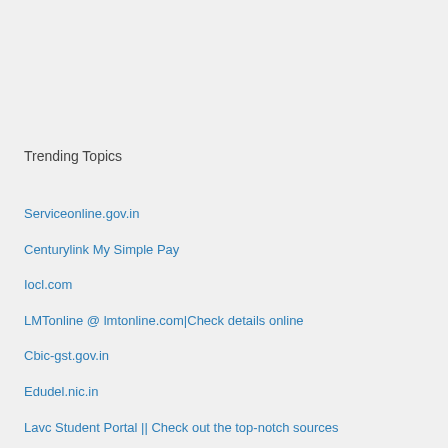Trending Topics
Serviceonline.gov.in
Centurylink My Simple Pay
Iocl.com
LMTonline @ lmtonline.com|Check details online
Cbic-gst.gov.in
Edudel.nic.in
Lavc Student Portal || Check out the top-notch sources
Txrh live | Check out the top-notch sources